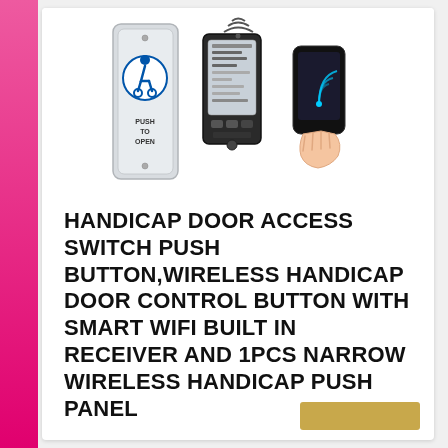[Figure (photo): Product image showing a handicap push-to-open door button panel, a handheld wireless remote/receiver device, and a smartphone with wireless signal icon.]
HANDICAP DOOR ACCESS SWITCH PUSH BUTTON,WIRELESS HANDICAP DOOR CONTROL BUTTON WITH SMART WIFI BUILT IN RECEIVER AND 1PCS NARROW WIRELESS HANDICAP PUSH PANEL